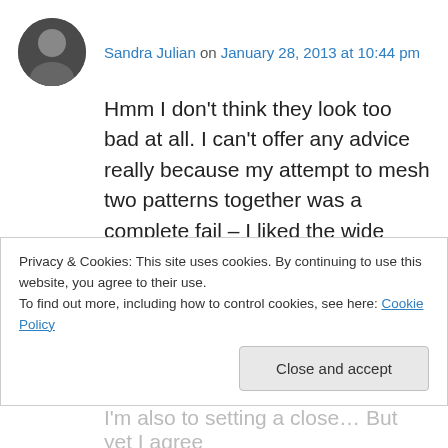Sandra Julian on January 28, 2013 at 10:44 pm
Hmm I don't think they look too bad at all. I can't offer any advice really because my attempt to mesh two patterns together was a complete fail – I liked the wide waist band on one pair of pants but wanted the skinny fit of another which realy meant adjusting from the hips down and I completely stuffed this up. The grain is fine but my waist is higher than my back which makes them really uncomfortable to wear (especially
Privacy & Cookies: This site uses cookies. By continuing to use this website, you agree to their use.
To find out more, including how to control cookies, see here: Cookie Policy
Close and accept